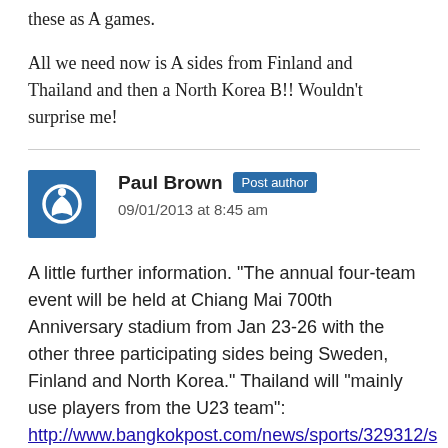these as A games.
All we need now is A sides from Finland and Thailand and then a North Korea B!! Wouldn't surprise me!
Paul Brown Post author
09/01/2013 at 8:45 am
A little further information. “The annual four-team event will be held at Chiang Mai 700th Anniversary stadium from Jan 23-26 with the other three participating sides being Sweden, Finland and North Korea.” Thailand will “mainly use players from the U23 team”: http://www.bangkokpost.com/news/sports/329312/s